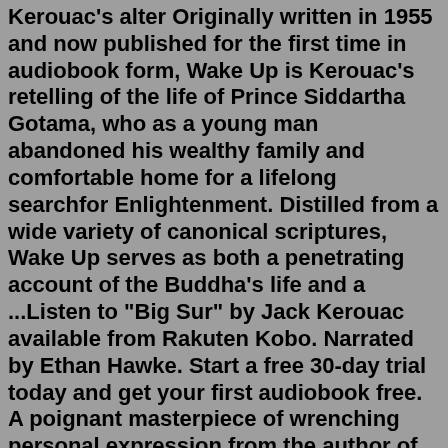Kerouac's alter Originally written in 1955 and now published for the first time in audiobook form, Wake Up is Kerouac's retelling of the life of Prince Siddartha Gotama, who as a young man abandoned his wealthy family and comfortable home for a lifelong searchfor Enlightenment. Distilled from a wide variety of canonical scriptures, Wake Up serves as both a penetrating account of the Buddha's life and a ...Listen to "Big Sur" by Jack Kerouac available from Rakuten Kobo. Narrated by Ethan Hawke. Start a free 30-day trial today and get your first audiobook free. A poignant masterpiece of wrenching personal expression from the author of On the Road and The Dharma Bums In this 1962 novel, Kerouac's alter Short description of Salmon Creek Trail in Big Sur, CA. Due to a planned power outage on Friday, 1/14, between 8am-1pm PST, some services may be impacted. Short description of Salmon Creek Trail in Big Sur, CA. Due to a planned power outage on Friday, 1/14, between 8am-1pm PST, some services may be impacted. Listen to "Big Sur Penguin Modern